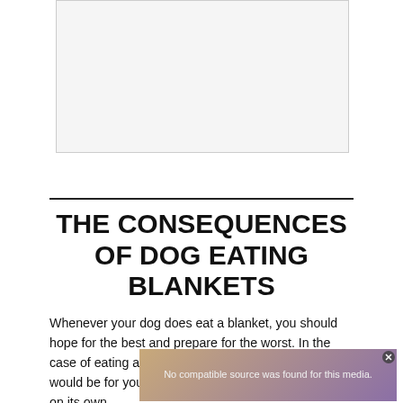[Figure (other): Advertisement placeholder box, white/light gray background with border]
THE CONSEQUENCES OF DOG EATING BLANKETS
Whenever your dog does eat a blanket, you should hope for the best and prepare for the worst. In the case of eating a part of a blanket, the best option would be for your dog to get rid of the eaten blanket on its own.
[Figure (screenshot): Video player overlay showing 'No compatible source was found for this media.' with partially visible text 'Can Dogs Sense When Something Is Wrong With Their Owner?' and a close button X]